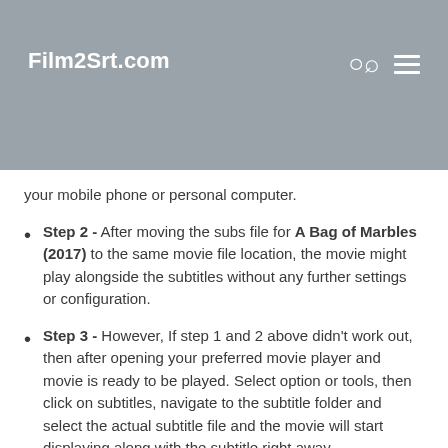Film2Srt.com
your mobile phone or personal computer.
Step 2 - After moving the subs file for A Bag of Marbles (2017) to the same movie file location, the movie might play alongside the subtitles without any further settings or configuration.
Step 3 - However, If step 1 and 2 above didn't work out, then after opening your preferred movie player and movie is ready to be played. Select option or tools, then click on subtitles, navigate to the subtitle folder and select the actual subtitle file and the movie will start displaying along with the subtitle right away.